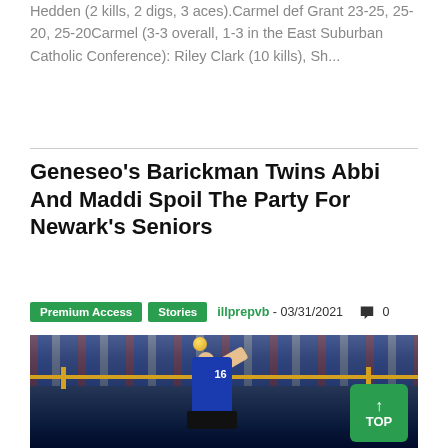Hedden (2 kills, 2 digs, 3 aces).Carmel def Grant 23-25, 25-20, 25-20Carmel (3-3 overall, 1-3 in the East Suburban Catholic Conference): Riley Clark (10 kills), Sh...
Geneseo's Barickman Twins Abbi And Maddi Spoil The Party For Newark's Seniors
Premium Access   Stories   illprepvb - 03/31/2021   0
[Figure (photo): Volleyball player wearing jersey number 16 jumping to spike the ball over the net in a crowded gymnasium, with another player visible on the right side.]